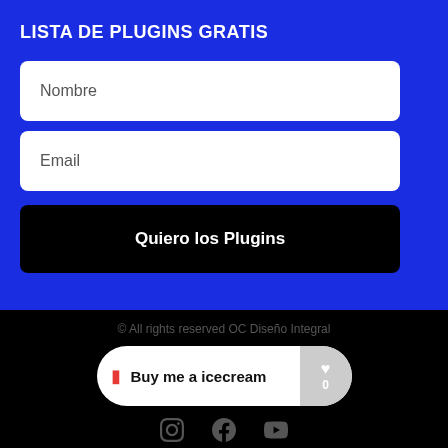LISTA DE PLUGINS GRATIS
Nombre
Email
Quiero los Plugins
© All rights reserved OC Diseño Integral
Buy me a icecream
[Figure (other): Social media icons: Instagram, Facebook, YouTube]